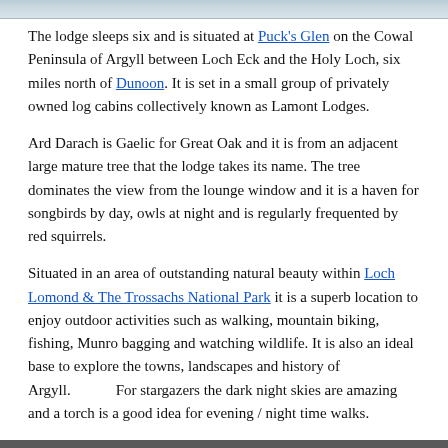[Figure (photo): Top strip of a landscape photo, partially cropped, showing sky and terrain.]
The lodge sleeps six and is situated at Puck's Glen on the Cowal Peninsula of Argyll between Loch Eck and the Holy Loch, six miles north of Dunoon. It is set in a small group of privately owned log cabins collectively known as Lamont Lodges.
Ard Darach is Gaelic for Great Oak and it is from an adjacent large mature tree that the lodge takes its name. The tree dominates the view from the lounge window and it is a haven for songbirds by day, owls at night and is regularly frequented by red squirrels.
Situated in an area of outstanding natural beauty within Loch Lomond & The Trossachs National Park it is a superb location to enjoy outdoor activities such as walking, mountain biking, fishing, Munro bagging and watching wildlife. It is also an ideal base to explore the towns, landscapes and history of Argyll.      For stargazers the dark night skies are amazing and a torch is a good idea for evening / night time walks.
The Accommodation